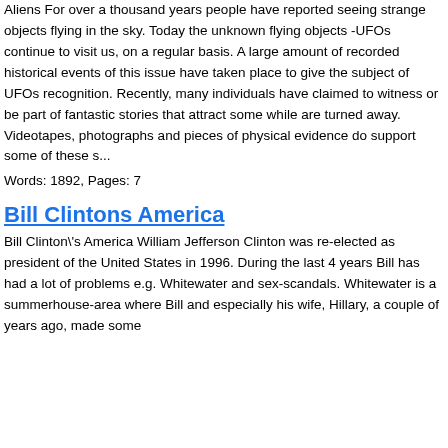Aliens For over a thousand years people have reported seeing strange objects flying in the sky. Today the unknown flying objects -UFOs continue to visit us, on a regular basis. A large amount of recorded historical events of this issue have taken place to give the subject of UFOs recognition. Recently, many individuals have claimed to witness or be part of fantastic stories that attract some while are turned away. Videotapes, photographs and pieces of physical evidence do support some of these s...
Words: 1892, Pages: 7
Bill Clintons America
Bill Clinton\'s America William Jefferson Clinton was re-elected as president of the United States in 1996. During the last 4 years Bill has had a lot of problems e.g. Whitewater and sex-scandals. Whitewater is a summerhouse-area where Bill and especially his wife, Hillary, a couple of years ago, made some